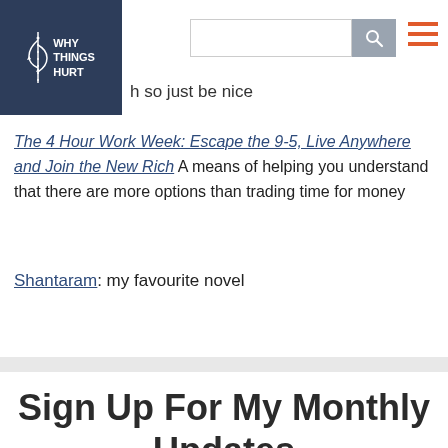WHY THINGS HURT
h so just be nice
The 4 Hour Work Week: Escape the 9-5, Live Anywhere and Join the New Rich A means of helping you understand that there are more options than trading time for money
Shantaram: my favourite novel
Sign Up For My Monthly Updates